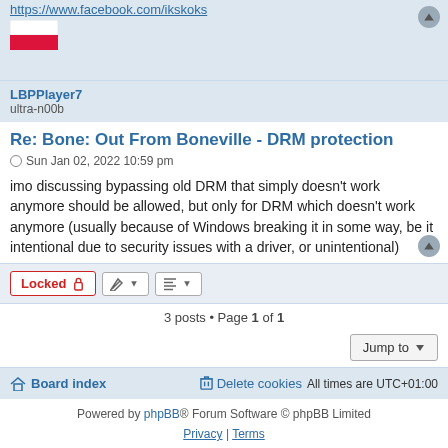https://www.facebook.com/ikskoks
[Figure (illustration): Polish flag icon - white and red horizontal stripes]
LBPPlayer7
ultra-n00b
Re: Bone: Out From Boneville - DRM protection
Sun Jan 02, 2022 10:59 pm
imo discussing bypassing old DRM that simply doesn't work anymore should be allowed, but only for DRM which doesn't work anymore (usually because of Windows breaking it in some way, be it intentional due to security issues with a driver, or unintentional)
3 posts • Page 1 of 1
Board index  Delete cookies  All times are UTC+01:00
Powered by phpBB® Forum Software © phpBB Limited
Privacy | Terms